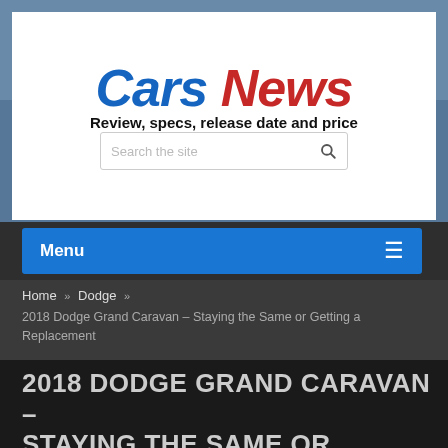Cars News
Review, specs, release date and price
Search the site
Menu
Home » Dodge »
2018 Dodge Grand Caravan – Staying the Same or Getting a Replacement
2018 DODGE GRAND CARAVAN – STAYING THE SAME OR GETTING A